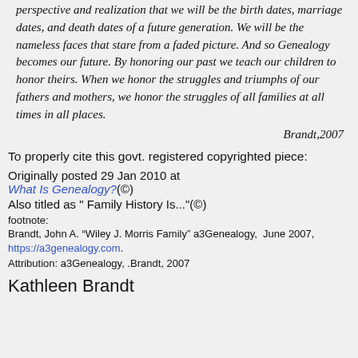perspective and realization that we will be the birth dates, marriage dates, and death dates of a future generation. We will be the nameless faces that stare from a faded picture. And so Genealogy becomes our future. By honoring our past we teach our children to honor theirs. When we honor the struggles and triumphs of our fathers and mothers, we honor the struggles of all families at all times in all places.
Brandt,2007
To properly cite this govt. registered copyrighted piece:
Originally posted 29 Jan 2010 at
What Is Genealogy?(©)
Also titled as " Family History Is..."(©)
footnote:
Brandt, John A. “Wiley J. Morris Family” a3Genealogy,  June 2007, https://a3genealogy.com.
Attribution: a3Genealogy, .Brandt, 2007
Kathleen Brandt